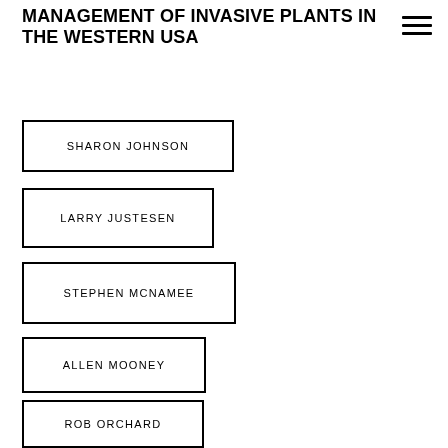MANAGEMENT OF INVASIVE PLANTS IN THE WESTERN USA
SHARON JOHNSON
LARRY JUSTESEN
STEPHEN MCNAMEE
ALLEN MOONEY
ROB ORCHARD
ROBERT PARSONS